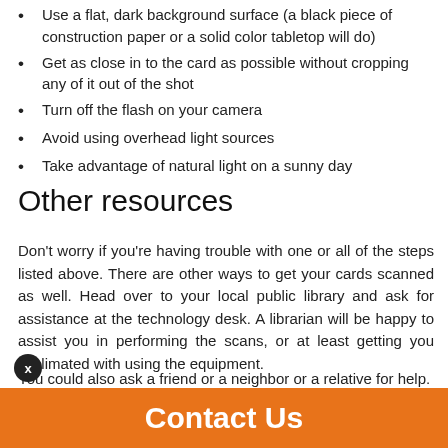Use a flat, dark background surface (a black piece of construction paper or a solid color tabletop will do)
Get as close in to the card as possible without cropping any of it out of the shot
Turn off the flash on your camera
Avoid using overhead light sources
Take advantage of natural light on a sunny day
Other resources
Don't worry if you're having trouble with one or all of the steps listed above. There are other ways to get your cards scanned as well. Head over to your local public library and ask for assistance at the technology desk. A librarian will be happy to assist you in performing the scans, or at least getting you acclimated with using the equipment.
You could also ask a friend or a neighbor or a relative for help.
Most millennials will be intimately familiar with scanning and sharing photos.
Contact Us